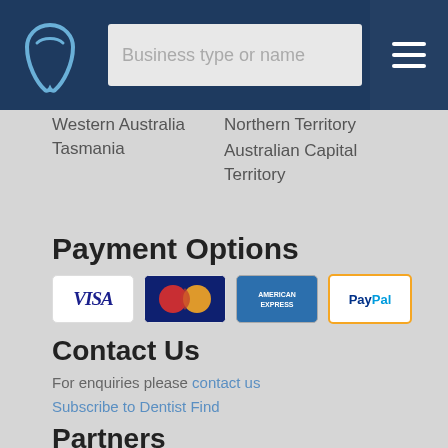Business type or name
Western Australia
Tasmania
Northern Territory
Australian Capital Territory
Payment Options
[Figure (other): Payment method icons: Visa, MasterCard, American Express, PayPal]
Contact Us
For enquiries please contact us
Subscribe to Dentist Find
Partners
Tourism Listing
Tourism Listing Post...